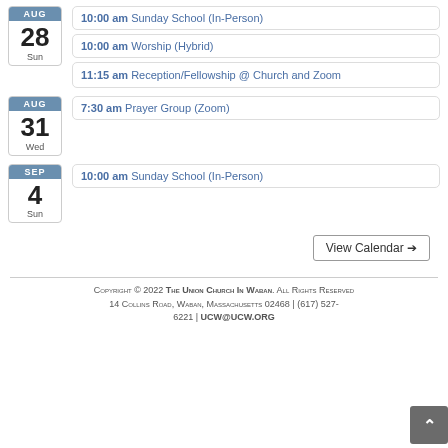10:00 am Sunday School (In-Person) — Sun Aug 28
10:00 am Worship (Hybrid) — Sun Aug 28
11:15 am Reception/Fellowship @ Church and Zoom — Sun Aug 28
7:30 am Prayer Group (Zoom) — Wed Aug 31
10:00 am Sunday School (In-Person) — Sun Sep 4
View Calendar →
Copyright © 2022 The Union Church In Waban. All Rights Reserved. 14 Collins Road, Waban, Massachusetts 02468 | (617) 527-6221 | UCW@UCW.ORG